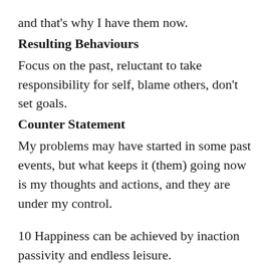and that’s why I have them now.
Resulting Behaviours
Focus on the past, reluctant to take responsibility for self, blame others, don’t set goals.
Counter Statement
My problems may have started in some past events, but what keeps it (them) going now is my thoughts and actions, and they are under my control.
10 Happiness can be achieved by inaction passivity and endless leisure.
Resulting Behaviours